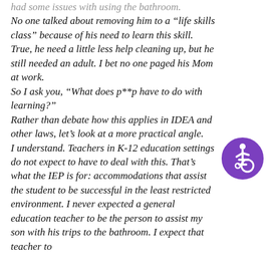had some issues with using the bathroom. No one talked about removing him to a "life skills class" because of his need to learn this skill. True, he need a little less help cleaning up, but he still needed an adult. I bet no one paged his Mom at work. So I ask you, "What does p**p have to do with learning?" Rather than debate how this applies in IDEA and other laws, let's look at a more practical angle. I understand. Teachers in K-12 education settings do not expect to have to deal with this. That's what the IEP is for: accommodations that assist the student to be successful in the least restricted environment. I never expected a general education teacher to be the person to assist my son with his trips to the bathroom. I expect that teacher to
[Figure (illustration): Purple circle accessibility icon featuring a stylized person in a wheelchair]